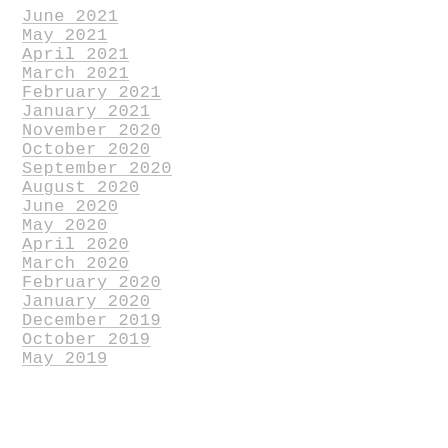June 2021
May 2021
April 2021
March 2021
February 2021
January 2021
November 2020
October 2020
September 2020
August 2020
June 2020
May 2020
April 2020
March 2020
February 2020
January 2020
December 2019
October 2019
May 2019